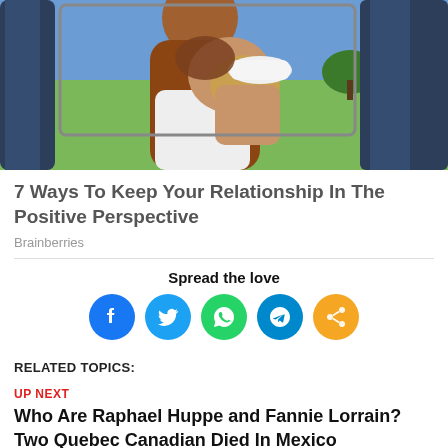[Figure (photo): A couple kissing inside a car, with green fields visible through the window. Warm tones of brown and blue seating.]
7 Ways To Keep Your Relationship In The Positive Perspective
Brainberries
Spread the love
[Figure (infographic): Row of five social media share icons: Facebook (blue), Twitter (blue), WhatsApp (green), Telegram (blue), Share (orange)]
RELATED TOPICS:
UP NEXT
Who Are Raphael Huppe and Fannie Lorrain? Two Quebec Canadian Died In Mexico
DON'T MISS